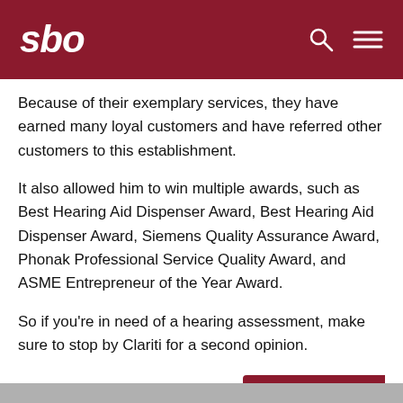sbo
Because of their exemplary services, they have earned many loyal customers and have referred other customers to this establishment.
It also allowed him to win multiple awards, such as Best Hearing Aid Dispenser Award, Best Hearing Aid Dispenser Award, Siemens Quality Assurance Award, Phonak Professional Service Quality Award, and ASME Entrepreneur of the Year Award.
So if you’re in need of a hearing assessment, make sure to stop by Clariti for a second opinion.
9. Sonova Singapore
[Figure (screenshot): Partial bottom image strip visible at page bottom]